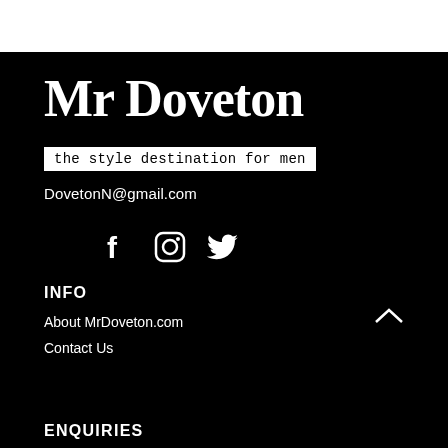Mr Doveton
the style destination for men
DovetonN@gmail.com
[Figure (illustration): Social media icons: Facebook (f), Instagram (camera), Twitter (bird) in white on black background]
INFO
About MrDoveton.com
Contact Us
ENQUIRIES